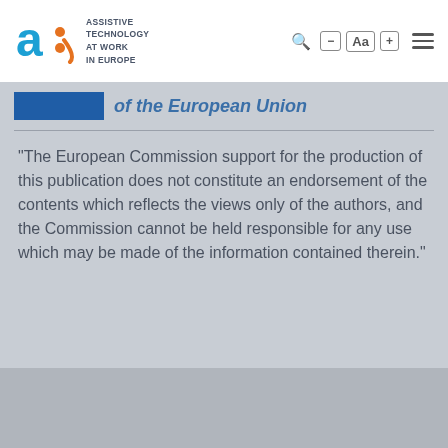ASSISTIVE TECHNOLOGY AT WORK IN EUROPE
of the European Union
"The European Commission support for the production of this publication does not constitute an endorsement of the contents which reflects the views only of the authors, and the Commission cannot be held responsible for any use which may be made of the information contained therein."